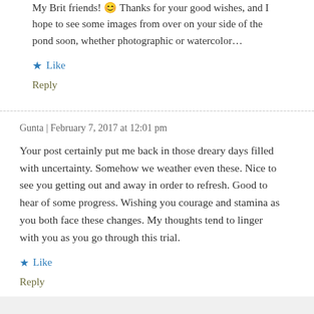My Brit friends! 😊 Thanks for your good wishes, and I hope to see some images from over on your side of the pond soon, whether photographic or watercolor…
★ Like
Reply
Gunta | February 7, 2017 at 12:01 pm
Your post certainly put me back in those dreary days filled with uncertainty. Somehow we weather even these. Nice to see you getting out and away in order to refresh. Good to hear of some progress. Wishing you courage and stamina as you both face these changes. My thoughts tend to linger with you as you go through this trial.
★ Like
Reply